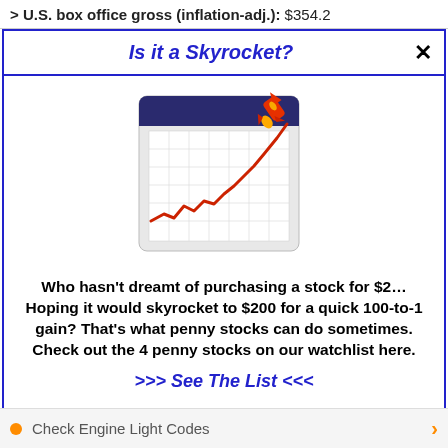> U.S. box office gross (inflation-adj.): $354.2
Is it a Skyrocket?
[Figure (illustration): A stock chart graphic showing a red upward-trending line on a calendar/graph background with a rocket in the top right corner.]
Who hasn't dreamt of purchasing a stock for $2… Hoping it would skyrocket to $200 for a quick 100-to-1 gain? That's what penny stocks can do sometimes. Check out the 4 penny stocks on our watchlist here.
>>> See The List <<<
Check Engine Light Codes